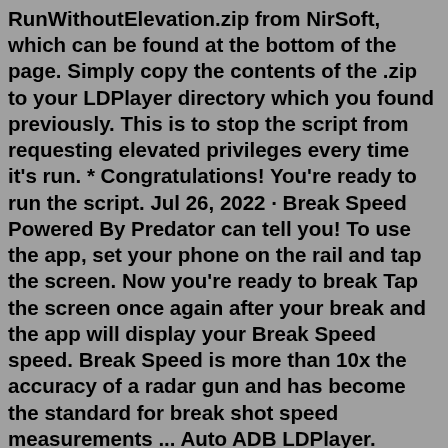RunWithoutElevation.zip from NirSoft, which can be found at the bottom of the page. Simply copy the contents of the .zip to your LDPlayer directory which you found previously. This is to stop the script from requesting elevated privileges every time it's run. * Congratulations! You're ready to run the script. Jul 26, 2022 · Break Speed Powered By Predator can tell you! To use the app, set your phone on the rail and tap the screen. Now you're ready to break Tap the screen once again after your break and the app will display your Break Speed speed. Break Speed is more than 10x the accuracy of a radar gun and has become the standard for break shot speed measurements ... Auto ADB LDPlayer. Contribute to drnxloc/AutoLDPlayer development by creating an account on GitHub. Mar 23, 2021 · Aggiornata: 2021-03-23 : 3.22.0. Scarica Trivia Quiz su PC. Choose the correct answer from 4 possible ones. All questions fall into 6 categories: Entertainment, Sport, Science, Geography, History and Art. The Fortune's wheel chooses from which category the question will be